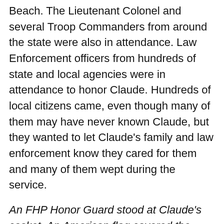Beach. The Lieutenant Colonel and several Troop Commanders from around the state were also in attendance. Law Enforcement officers from hundreds of state and local agencies were in attendance to honor Claude. Hundreds of local citizens came, even though many of them may have never known Claude, but they wanted to let Claude's family and law enforcement know they cared for them and many of them wept during the service.
An FHP Honor Guard stood at Claude's casket. An American flag covered the casket, which I believed would have pleased Claude: He was a patriotic man. Claude's family was ushered into the chapel and quietly took their seats.  Connie Baker, Claude's wife along with his daughter Sabrina were escorted in by Corporal Steve Ward, Claude's immediate